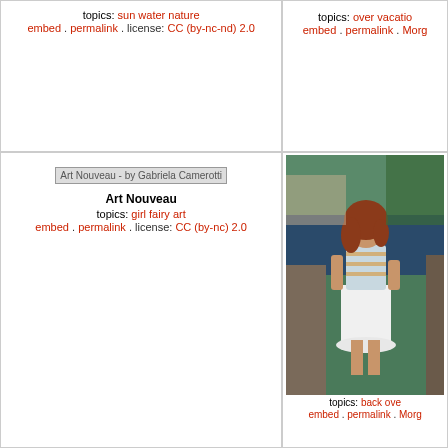topics: sun water nature
embed . permalink . license: CC (by-nc-nd) 2.0
topics: over vacatio…
embed . permalink . Morg…
[Figure (photo): Art Nouveau image placeholder - by Gabriela Camerotti]
Art Nouveau
topics: girl fairy art
embed . permalink . license: CC (by-nc) 2.0
[Figure (photo): Photo of a young woman with curly red hair wearing a striped shirt and white skirt, standing near water with green trees in background]
topics: back ove…
embed . permalink . Morg…